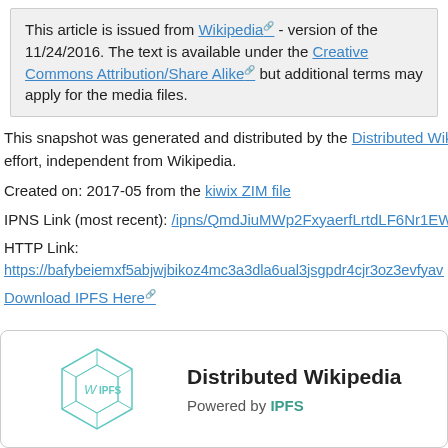This article is issued from Wikipedia - version of the 11/24/2016. The text is available under the Creative Commons Attribution/Share Alike but additional terms may apply for the media files.
This snapshot was generated and distributed by the Distributed Wikipedia Mirror effort, independent from Wikipedia.
Created on: 2017-05 from the kiwix ZIM file
IPNS Link (most recent): /ipns/QmdJiuMWp2FxyaerfLrtdLF6Nr1EWpL7dPAx
HTTP Link: https://bafybeiemxf5abjwjbikoz4mc3a3dla6ual3jsgpdr4cjr3oz3evfyavhwq.ipfs.c
Download IPFS Here
[Figure (logo): Distributed Wikipedia IPFS logo - a teal hexagonal cube with W and IPFS text inside]